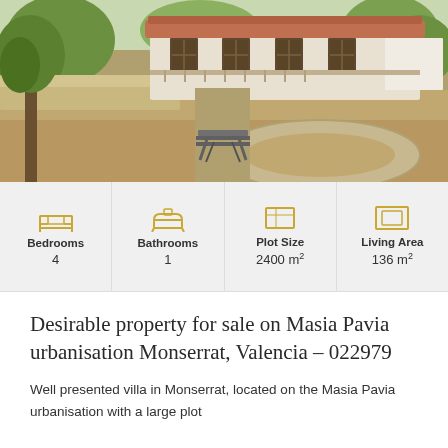[Figure (photo): Exterior photo of a Spanish villa with terracotta roof tiles, white walls, large trees, stone retaining walls, and a circular driveway. A picnic table is visible in the foreground.]
| Bedrooms | Bathrooms | Plot Size | Living Area |
| --- | --- | --- | --- |
| 4 | 1 | 2400 m² | 136 m² |
Desirable property for sale on Masia Pavia urbanisation Monserrat, Valencia – 022979
Well presented villa in Monserrat, located on the Masia Pavia urbanisation with a large plot